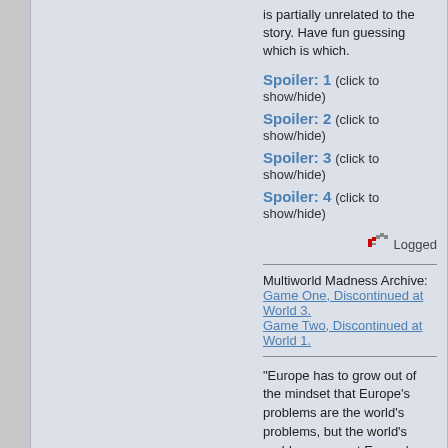is partially unrelated to the story. Have fun guessing which is which.
Spoiler: 1 (click to show/hide)
Spoiler: 2 (click to show/hide)
Spoiler: 3 (click to show/hide)
Spoiler: 4 (click to show/hide)
Logged
Multiworld Madness Archive:
Game One, Discontinued at World 3.
Game Two, Discontinued at World 1.
"Europe has to grow out of the mindset that Europe's problems are the world's problems, but the world's problems are not Europe's problems."
- Subrahmanyam Jaishankar, Minister of External Affairs, India
Frelock
Bay Watcher
Re: RTD - Multiworld Madness! Important information for